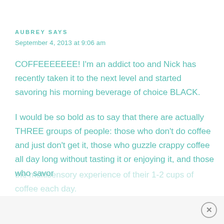AUBREY SAYS
September 4, 2013 at 9:06 am
COFFEEEEEEE! I'm an addict too and Nick has recently taken it to the next level and started savoring his morning beverage of choice BLACK.
I would be so bold as to say that there are actually THREE groups of people: those who don't do coffee and just don't get it, those who guzzle crappy coffee all day long without tasting it or enjoying it, and those who savor the multisensory experience of their 1-2 cups of coffee each day. Which category do you...